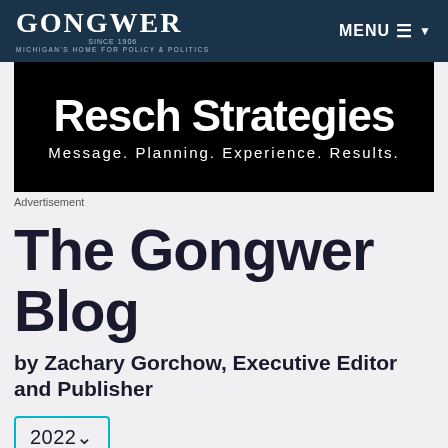GONGWER — Since 1906 — Michigan's Home for Policy & Politics | MENU
[Figure (screenshot): Advertisement banner for Resch Strategies — black background with white bold text reading 'Resch Strategies' and subtitle 'Message. Planning. Experience. Results.']
Advertisement
The Gongwer Blog
by Zachary Gorchow, Executive Editor and Publisher
2022